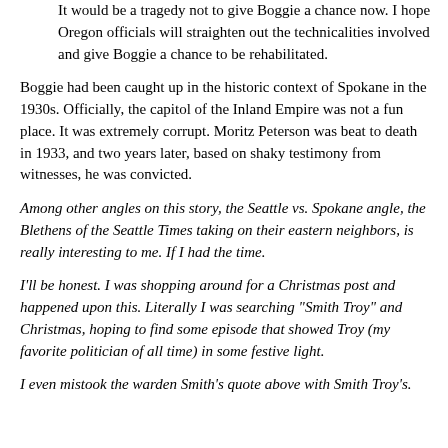It would be a tragedy not to give Boggie a chance now. I hope Oregon officials will straighten out the technicalities involved and give Boggie a chance to be rehabilitated.
Boggie had been caught up in the historic context of Spokane in the 1930s. Officially, the capitol of the Inland Empire was not a fun place. It was extremely corrupt. Moritz Peterson was beat to death in 1933, and two years later, based on shaky testimony from witnesses, he was convicted.
Among other angles on this story, the Seattle vs. Spokane angle, the Blethens of the Seattle Times taking on their eastern neighbors, is really interesting to me. If I had the time.
I'll be honest. I was shopping around for a Christmas post and happened upon this. Literally I was searching "Smith Troy" and Christmas, hoping to find some episode that showed Troy (my favorite politician of all time) in some festive light.
I even mistook the warden Smith's quote above with Smith Troy's.